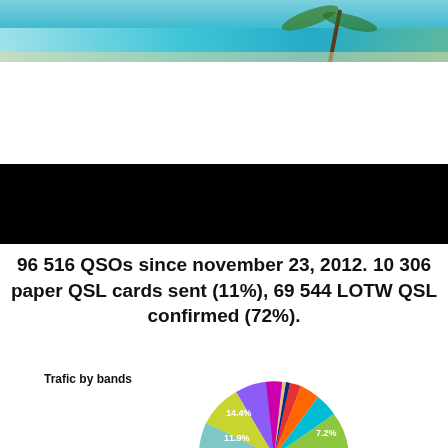[Figure (photo): Photo of a tropical beach scene with turquoise water and a palm tree]
96 516 QSOs since november 23, 2012. 10 306 paper QSL cards sent (11%), 69 544 LOTW QSL confirmed (72%).
[Figure (pie-chart): Trafic by bands]